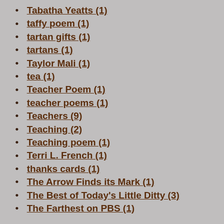Tabatha Yeatts (1)
taffy poem (1)
tartan gifts (1)
tartans (1)
Taylor Mali (1)
tea (1)
Teacher Poem (1)
teacher poems (1)
Teachers (9)
Teaching (2)
Teaching poem (1)
Terri L. French (1)
thanks cards (1)
The Arrow Finds its Mark (1)
The Best of Today's Little Ditty (3)
The Farthest on PBS (1)